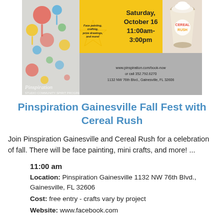[Figure (photo): Event promotional flyer for Pinspiration Gainesville Fall Fest with Cereal Rush. Shows date Saturday October 16, 11:00am-3:00pm, with face painting, crafting, prize drawings and more. Includes Pinspiration logo, website www.pinspiration.com/book-now, phone 352.792.6270, address 1132 NW 76th Blvd., Gainesville, FL 32606. Yellow and gray design with paint splatter background.]
Pinspiration Gainesville Fall Fest with Cereal Rush
Join Pinspiration Gainesville and Cereal Rush for a celebration of fall. There will be face painting, mini crafts, and more! ...
11:00 am
Location: Pinspiration Gainesville 1132 NW 76th Blvd., Gainesville, FL 32606
Cost: free entry - crafts vary by project
Website: www.facebook.com